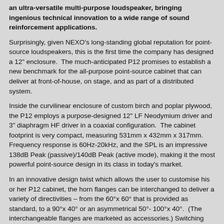an ultra-versatile multi-purpose loudspeaker, bringing ingenious technical innovation to a wide range of sound reinforcement applications.
Surprisingly, given NEXO's long-standing global reputation for point-source loudspeakers, this is the first time the company has designed a 12" enclosure. The much-anticipated P12 promises to establish a new benchmark for the all-purpose point-source cabinet that can deliver at front-of-house, on stage, and as part of a distributed system.
Inside the curvilinear enclosure of custom birch and poplar plywood, the P12 employs a purpose-designed 12" LF Neodymium driver and 3" diaphragm HF driver in a coaxial configuration. The cabinet footprint is very compact, measuring 531mm x 432mm x 317mm. Frequency response is 60Hz-20kHz, and the SPL is an impressive 138dB Peak (passive)/140dB Peak (active mode), making it the most powerful point-source design in its class in today's market.
In an innovative design twist which allows the user to customise his or her P12 cabinet, the horn flanges can be interchanged to deliver a variety of directivities – from the 60°x 60° that is provided as standard, to a 90°x 40° or an asymmetrical 50°- 100°x 40°. (The interchangeable flanges are marketed as accessories.) Switching between different directivities can be accomplished in just 15 seconds, easily removing the steel grille and replacing the flare, which uses a magnetic fixing.
Less than 20 kg in weight, the ergonomic design of the P12 includes carry handles on each side, pole-mount fitting with an ingeniously-positioned Speakon connector behind it to allow tidy cable management,, and threaded inserts for connection of